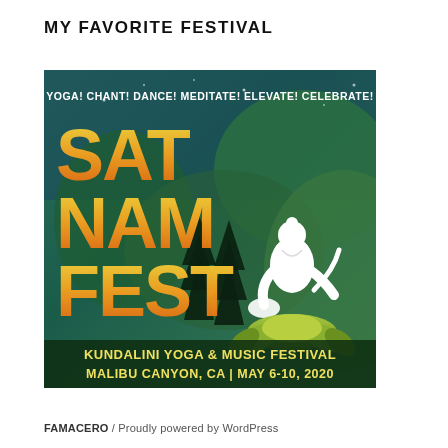MY FAVORITE FESTIVAL
[Figure (illustration): Sat Nam Fest festival poster with colorful green and teal background, large orange/yellow gradient text reading SAT NAM FEST, white silhouette of a person playing sitar seated on a lotus flower, pine trees in background. Text reads: YOGA! CHANT! DANCE! MEDITATE! ELEVATE! CELEBRATE! KUNDALINI YOGA & MUSIC FESTIVAL MALIBU CANYON, CA | MAY 6-10, 2020]
FAMACERO  /  Proudly powered by WordPress